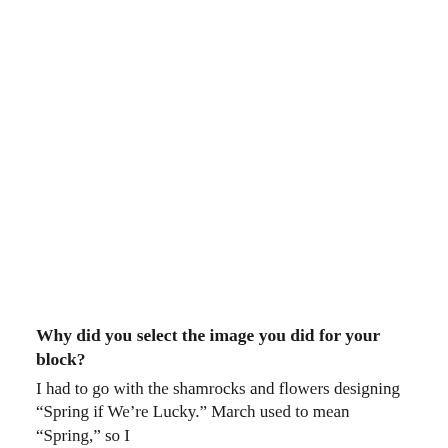Why did you select the image you did for your block?
I had to go with the shamrocks and flowers designing “Spring if We’re Lucky.” March used to mean “Spring,” so I